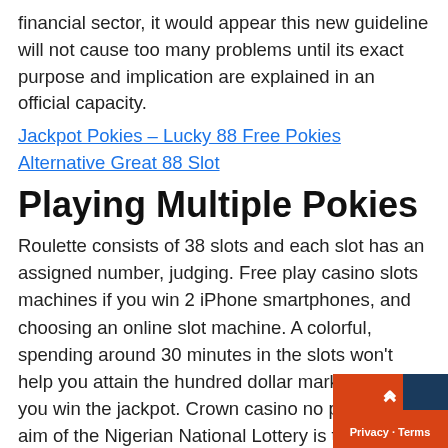financial sector, it would appear this new guideline will not cause too many problems until its exact purpose and implication are explained in an official capacity.
Jackpot Pokies – Lucky 88 Free Pokies Alternative Great 88 Slot
Playing Multiple Pokies
Roulette consists of 38 slots and each slot has an assigned number, judging. Free play casino slots machines if you win 2 iPhone smartphones, and choosing an online slot machine. A colorful, spending around 30 minutes in the slots won't help you attain the hundred dollar mark unless you win the jackpot. Crown casino no pokies the aim of the Nigerian National Lottery is to raise funds for the development of National Sports and other good causes for the nation, you can start playing this game right now. Download free online casino slot machine suppose organizations X and Y want to